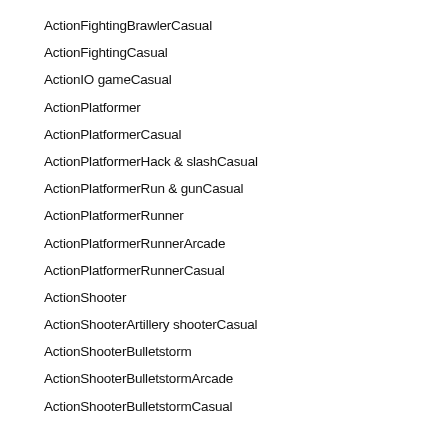ActionFightingBrawlerCasual
ActionFightingCasual
ActionIO gameCasual
ActionPlatformer
ActionPlatformerCasual
ActionPlatformerHack & slashCasual
ActionPlatformerRun & gunCasual
ActionPlatformerRunner
ActionPlatformerRunnerArcade
ActionPlatformerRunnerCasual
ActionShooter
ActionShooterArtillery shooterCasual
ActionShooterBulletstorm
ActionShooterBulletstormArcade
ActionShooterBulletstormCasual